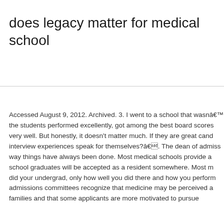does legacy matter for medical school
Accessed August 9, 2012. Archived. 3. I went to a school that wasnât... the students performed excellently, got among the best board scores... very well. But honestly, it doesn't matter much. If they are great can... interview experiences speak for themselves?â. The dean of admiss... way things have always been done. Most medical schools provide a... school graduates will be accepted as a resident somewhere. Most m... did your undergrad, only how well you did there and how you perform... admissions committees recognize that medicine may be perceived a... families and that some applicants are more motivated to pursue...